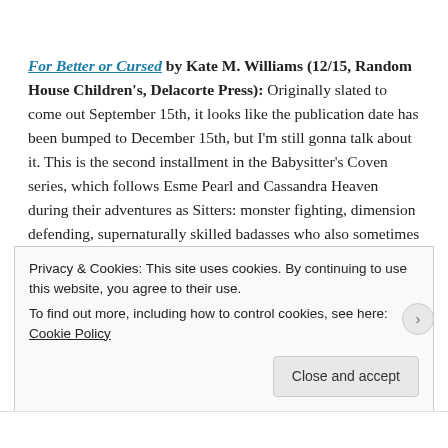For Better or Cursed by Kate M. Williams (12/15, Random House Children's, Delacorte Press): Originally slated to come out September 15th, it looks like the publication date has been bumped to December 15th, but I'm still gonna talk about it. This is the second installment in the Babysitter's Coven series, which follows Esme Pearl and Cassandra Heaven during their adventures as Sitters: monster fighting, dimension defending, supernaturally skilled badasses who also sometimes babysit. The first book was an absolute delight and I definitely believe that everyone from nine with…
Privacy & Cookies: This site uses cookies. By continuing to use this website, you agree to their use.
To find out more, including how to control cookies, see here: Cookie Policy
Close and accept